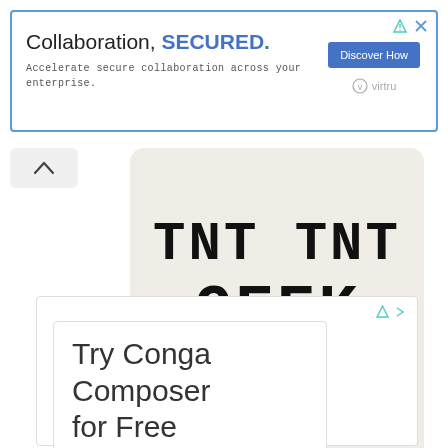[Figure (screenshot): Advertisement banner with blue border. Text: 'Collaboration, SECURED.' with blue button 'Discover How' and Virtru logo. Subtext: 'Accelerate secure collaboration across your enterprise.']
[Figure (logo): TNT INT GEEK logo on beige rounded card with tagline 'Breaking New Ground In Geek Culture.']
[Figure (screenshot): Advertisement for 'Try Conga Composer for Free' in a white bordered box.]